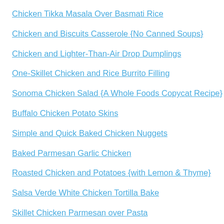Chicken Tikka Masala Over Basmati Rice
Chicken and Biscuits Casserole {No Canned Soups}
Chicken and Lighter-Than-Air Drop Dumplings
One-Skillet Chicken and Rice Burrito Filling
Sonoma Chicken Salad {A Whole Foods Copycat Recipe}
Buffalo Chicken Potato Skins
Simple and Quick Baked Chicken Nuggets
Baked Parmesan Garlic Chicken
Roasted Chicken and Potatoes {with Lemon & Thyme}
Salsa Verde White Chicken Tortilla Bake
Skillet Chicken Parmesan over Pasta